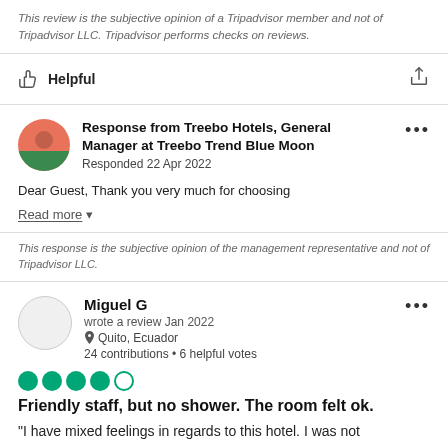This review is the subjective opinion of a Tripadvisor member and not of Tripadvisor LLC. Tripadvisor performs checks on reviews.
Helpful
Response from Treebo Hotels, General Manager at Treebo Trend Blue Moon
Responded 22 Apr 2022
Dear Guest, Thank you very much for choosing
Read more
This response is the subjective opinion of the management representative and not of Tripadvisor LLC.
Miguel G
wrote a review Jan 2022
Quito, Ecuador
24 contributions • 6 helpful votes
4 out of 5 stars
Friendly staff, but no shower. The room felt ok.
"I have mixed feelings in regards to this hotel. I was not